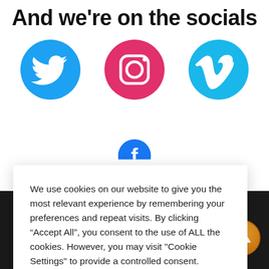And we're on the socials
[Figure (illustration): Three social media icons: Twitter (blue bird), Instagram (pink/magenta camera), Vimeo (light blue V)]
[Figure (illustration): Partial blue social media icon (Facebook or similar) partially visible]
We use cookies on our website to give you the most relevant experience by remembering your preferences and repeat visits. By clicking “Accept All”, you consent to the use of ALL the cookies. However, you may visit "Cookie Settings" to provide a controlled consent.
Cookie Settings   Accept All
tion Ltd
[Figure (illustration): Orange circular up-arrow button in bottom right corner]